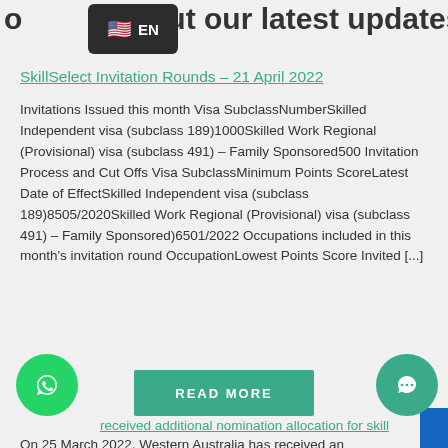out our latest updates
[Figure (other): Language selector badge showing US flag emoji and EN text on dark background]
SkillSelect Invitation Rounds – 21 April 2022
Invitations Issued this month Visa SubclassNumberSkilled Independent visa (subclass 189)1000Skilled Work Regional (Provisional) visa (subclass 491) – Family Sponsored500 Invitation Process and Cut Offs Visa SubclassMinimum Points ScoreLatest Date of EffectSkilled Independent visa (subclass 189)8505/2020Skilled Work Regional (Provisional) visa (subclass 491) – Family Sponsored)6501/2022 Occupations included in this month's invitation round OccupationLowest Points Score Invited [...]
READ MORE
received additional nomination allocation for skill
On 25 March 2022, Western Australia has received an